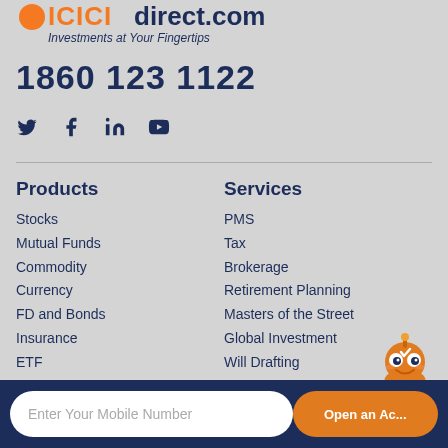[Figure (logo): ICICIdirect.com logo with tagline Investments at Your Fingertips]
1860 123 1122
[Figure (illustration): Social media icons: Twitter, Facebook, LinkedIn, YouTube]
Products
Stocks
Mutual Funds
Commodity
Currency
FD and Bonds
Insurance
ETF
NPS
Services
PMS
Tax
Brokerage
Retirement Planning
Masters of the Street
Global Investment
Will Drafting
Customer Services
Enter Your Mobile Number
Open an Ac...